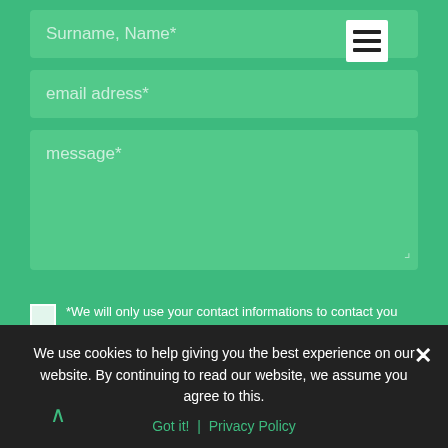Surname, Name*
email adress*
message*
*We will only use your contact informations to contact you concerning your request. For further informations on handling your private data you can check our Privacy Policy.
*necessary fields
Send Suggestion
We use cookies to help giving you the best experience on our website. By continuing to read our website, we assume you agree to this.
Got it! | Privacy Policy